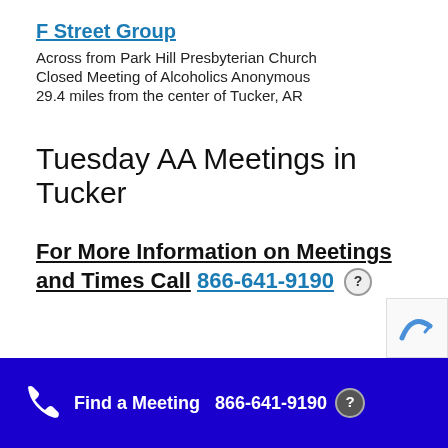F Street Group
Across from Park Hill Presbyterian Church
Closed Meeting of Alcoholics Anonymous
29.4 miles from the center of Tucker, AR
Tuesday AA Meetings in Tucker
For More Information on Meetings and Times Call  866-641-9190
Find a Meeting  866-641-9190